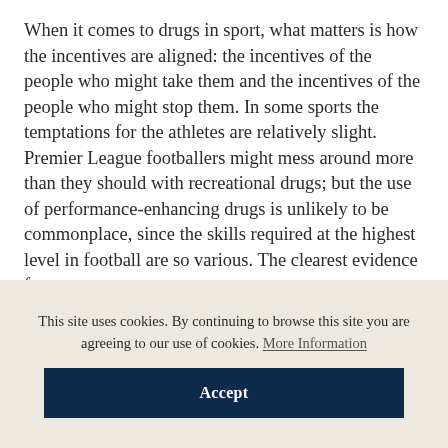When it comes to drugs in sport, what matters is how the incentives are aligned: the incentives of the people who might take them and the incentives of the people who might stop them. In some sports the temptations for the athletes are relatively slight. Premier League footballers might mess around more than they should with recreational drugs; but the use of performance-enhancing drugs is unlikely to be commonplace, since the skills required at the highest level in football are so various. The clearest evidence for
This site uses cookies. By continuing to browse this site you are agreeing to our use of cookies. More Information
Accept